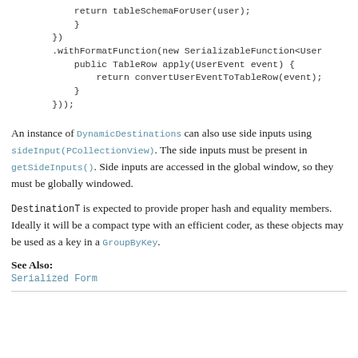return tableSchemaForUser(user);
            }
        })
        .withFormatFunction(new SerializableFunction<User
            public TableRow apply(UserEvent event) {
                return convertUserEventToTableRow(event);
            }
        }));
An instance of DynamicDestinations can also use side inputs using sideInput(PCollectionView). The side inputs must be present in getSideInputs(). Side inputs are accessed in the global window, so they must be globally windowed.
DestinationT is expected to provide proper hash and equality members. Ideally it will be a compact type with an efficient coder, as these objects may be used as a key in a GroupByKey.
See Also:
Serialized Form